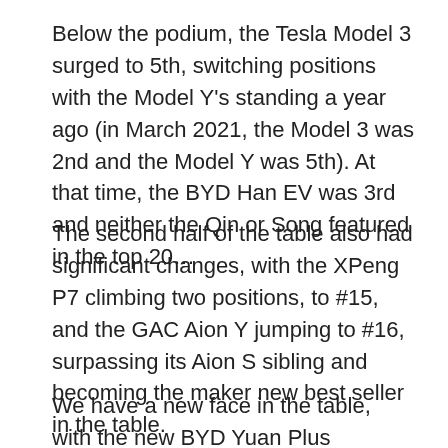Below the podium, the Tesla Model 3 surged to 5th, switching positions with the Model Y's standing a year ago (in March 2021, the Model 3 was 2nd and the Model Y was 5th). At that time, the BYD Han EV was 3rd and neither the Qin or Song featured in the top 20…
The second half of the table also had significant changes, with the XPeng P7 climbing two positions, to #15, and the GAC Aion Y jumping to #16, surpassing its Aion S sibling and becoming the maker new best seller in the table.
We have a new face in the table, with the new BYD Yuan Plus replacing the previous-